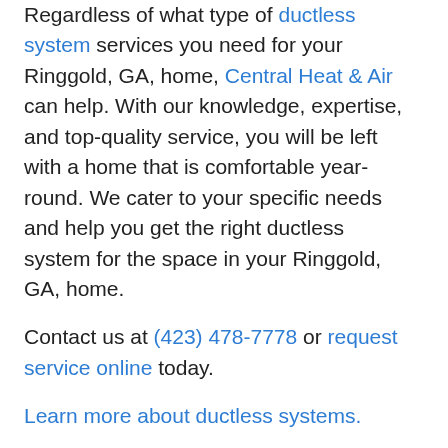Regardless of what type of ductless system services you need for your Ringgold, GA, home, Central Heat & Air can help. With our knowledge, expertise, and top-quality service, you will be left with a home that is comfortable year-round. We cater to your specific needs and help you get the right ductless system for the space in your Ringgold, GA, home.
Contact us at (423) 478-7778 or request service online today.
Learn more about ductless systems.
Furnaces
No matter what furnace make or model you are